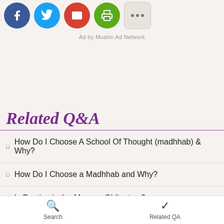[Figure (other): Social sharing icons: Facebook (blue circle), Twitter (blue circle), Email (red circle), Print (green circle), More (gray rounded square with three dots)]
Ad by Muslim Ad Network
Related Q&A
How Do I Choose A School Of Thought (madhhab) & Why?
How Do I Choose a Madhhab and Why?
Is Praying in the Mosque Obligatory?
Following one Madhhab on every issue? - (Hanbali Fiqh)
Search   Related QA